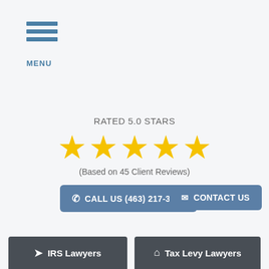[Figure (other): Hamburger menu icon with three horizontal blue lines and MENU label]
RATED 5.0 STARS
[Figure (other): Five gold stars rating]
(Based on 45 Client Reviews)
CALL US (463) 217-3855
CONTACT US
IRS Lawyers
Tax Levy Lawyers